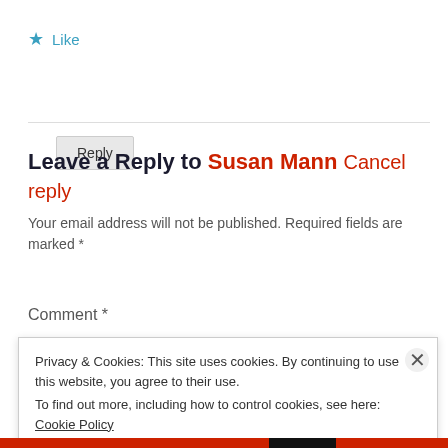★ Like
Reply
Leave a Reply to Susan Mann Cancel reply
Your email address will not be published. Required fields are marked *
Comment *
Privacy & Cookies: This site uses cookies. By continuing to use this website, you agree to their use.
To find out more, including how to control cookies, see here: Cookie Policy
Close and accept